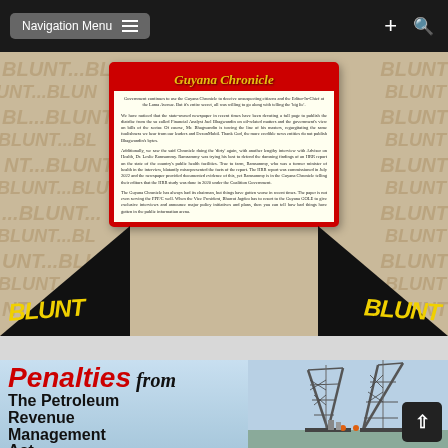Navigation Menu
[Figure (photo): Guyana Chronicle newspaper article card with BLUNT watermark background and black diagonal corners with yellow BLUNT text]
[Figure (photo): Article header: 'Penalties from The Petroleum Revenue Management Act' with oil rig photo on right side]